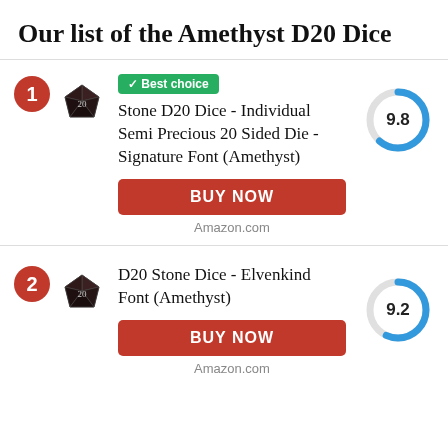Our list of the Amethyst D20 Dice
[Figure (infographic): Product listing item 1 with rank badge '1', dice image, 'Best choice' badge, product title 'Stone D20 Dice - Individual Semi Precious 20 Sided Die - Signature Font (Amethyst)', score gauge showing 9.8, BUY NOW button, Amazon.com label]
[Figure (infographic): Product listing item 2 with rank badge '2', dice image, product title 'D20 Stone Dice - Elvenkind Font (Amethyst)', score gauge showing 9.2, BUY NOW button, Amazon.com label]